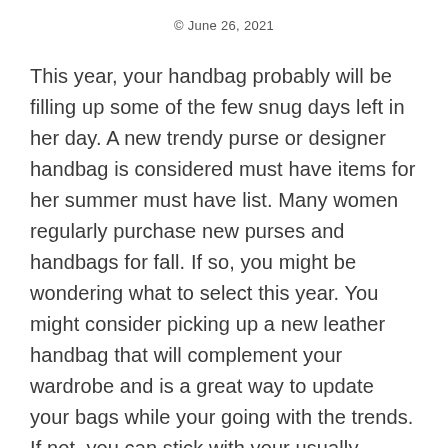© June 26, 2021
This year, your handbag probably will be filling up some of the few snug days left in her day. A new trendy purse or designer handbag is considered must have items for her summer must have list. Many women regularly purchase new purses and handbags for fall. If so, you might be wondering what to select this year. You might consider picking up a new leather handbag that will complement your wardrobe and is a great way to update your bags while your going with the trends. If not, you can stick with your usually favorites for the season or slowly add to your handbag collection over the years.